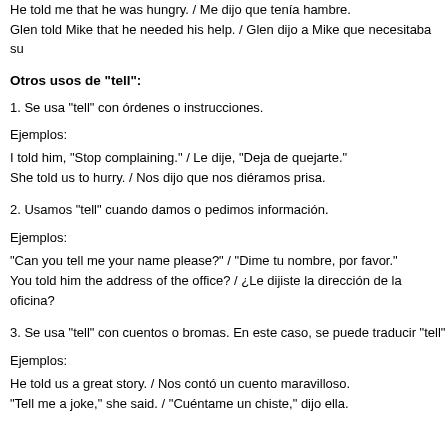He told me that he was hungry. / Me dijo que tenía hambre.
Glen told Mike that he needed his help. / Glen dijo a Mike que necesitaba su
Otros usos de “tell”:
1. Se usa “tell” con órdenes o instrucciones.
Ejemplos:
I told him, “Stop complaining.” / Le dije, “Deja de quejarte.”
She told us to hurry. / Nos dijo que nos diéramos prisa.
2. Usamos “tell” cuando damos o pedimos información.
Ejemplos:
“Can you tell me your name please?” / “Dime tu nombre, por favor.”
You told him the address of the office? / ¿Le dijiste la dirección de la oficina?
3. Se usa “tell” con cuentos o bromas. En este caso, se puede traducir “tell”
Ejemplos:
He told us a great story. / Nos contó un cuento maravilloso.
“Tell me a joke,” she said. / “Cuéntame un chiste,” dijo ella.